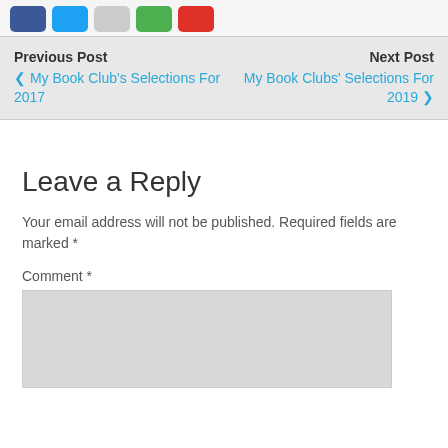[Figure (other): Social sharing buttons: Facebook (blue), Twitter (light blue), Email (gray), Google+ (green), Pinterest (red)]
Previous Post
‹ My Book Club's Selections For 2017
Next Post
My Book Clubs' Selections For 2019 ›
Leave a Reply
Your email address will not be published. Required fields are marked *
Comment *